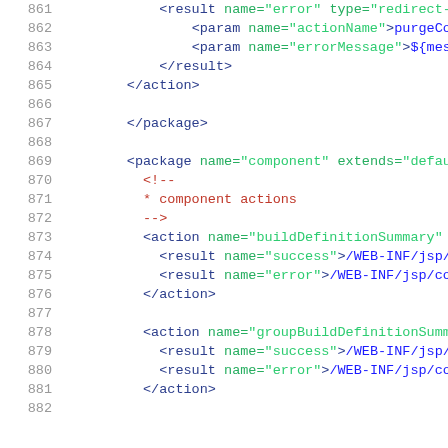[Figure (screenshot): XML/code editor view showing lines 861-882 of an XML configuration file with syntax highlighting. Line numbers in grey on the left, XML tags in blue, attribute names in green, attribute values in green quotes, comment text in dark red.]